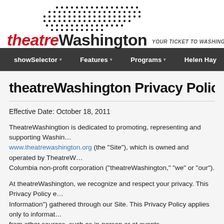[Figure (logo): theatreWashington logo with dot pattern above and tagline 'YOUR TICKET TO WASHINGTON THEATRE']
showSelector  Features  Programs  Helen Hay
theatreWashington Privacy Policy
Effective Date: October 18, 2011
TheatreWashingtion is dedicated to promoting, representing and supporting Washin... www.theatrewashington.org (the "Site"), which is owned and operated by TheatreW... Columbia non-profit corporation ("theatreWashington," "we" or "our").
At theatreWashington, we recognize and respect your privacy. This Privacy Policy e... Information") gathered through our Site. This Privacy Policy applies only to informat... from other sources, such as in-person or at events.
The Privacy Policy is subject to and incorporated by reference our Terms of Use...